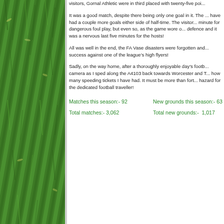[Figure (photo): Green grass/turf photograph used as a decorative sidebar on the left side of the page]
visitors, Gornal Athletic were in third placed with twenty-five poi...
It was a good match, despite there being only one goal in it. The ... have had a couple more goals either side of half-time. The visitor... minute for dangerous foul play, but even so, as the game wore o... defence and it was a nervous last five minutes for the hosts!
All was well in the end, the FA Vase disasters were forgotten and... success against one of the league’s high flyers!
Sadly, on the way home, after a thoroughly enjoyable day’s footb... camera as I sped along the A4103 back towards Worcester and T... how many speeding tickets I have had. It must be more than fort... hazard for the dedicated football traveller!
Matches this season:- 92    New grounds this season:- 63
Total matches:- 3,062    Total new grounds:-  1,017